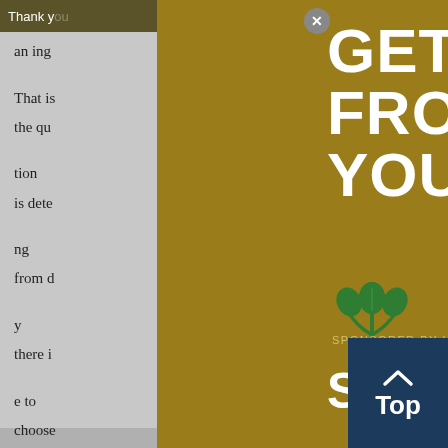Thank you   ...tools you
an ing... That is the qu... tion is dete... ng from d... y there i... e to choose... ng, so that th... tter fate th... traged...
by DO...
Senio...
[Figure (illustration): Advertisement overlay for Soyleic oil product. Gold background panel with large white bold headline text 'GET MORE FROM YOUR OIL WITH', a green soybean plant logo above the brand name 'SOYLEIC' in white letters, and text 'SPONSORED BY UNITED SOYBEAN BOARD' at the bottom. A textured grain/seed photograph fills the bottom-right area of the panel.]
[Figure (other): Close button (X) circle in gray at top right of ad panel]
[Figure (other): Dark blue 'Top' button with upward arrow chevron in bottom-right corner of page]